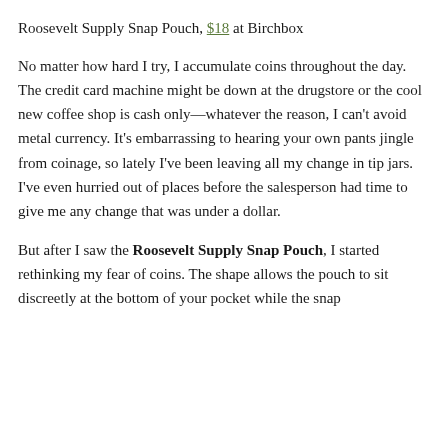Roosevelt Supply Snap Pouch, $18 at Birchbox
No matter how hard I try, I accumulate coins throughout the day. The credit card machine might be down at the drugstore or the cool new coffee shop is cash only—whatever the reason, I can't avoid metal currency. It's embarrassing to hearing your own pants jingle from coinage, so lately I've been leaving all my change in tip jars. I've even hurried out of places before the salesperson had time to give me any change that was under a dollar.
But after I saw the Roosevelt Supply Snap Pouch, I started rethinking my fear of coins. The shape allows the pouch to sit discreetly at the bottom of your pocket while the snap